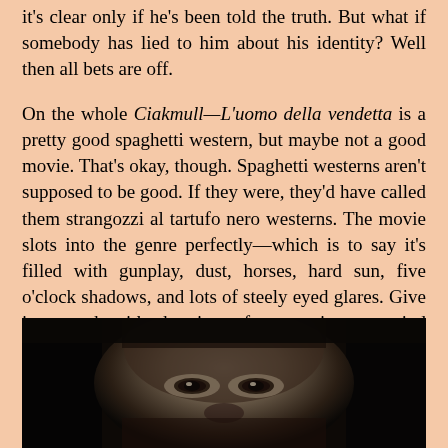it's clear only if he's been told the truth. But what if somebody has lied to him about his identity? Well then all bets are off.
On the whole Ciakmull—L'uomo della vendetta is a pretty good spaghetti western, but maybe not a good movie. That's okay, though. Spaghetti westerns aren't supposed to be good. If they were, they'd have called them strangozzi al tartufo nero westerns. The movie slots into the genre perfectly—which is to say it's filled with gunplay, dust, horses, hard sun, five o'clock shadows, and lots of steely eyed glares. Give it a watch with cheesiness foremost in your mind and you may like it.
[Figure (photo): Close-up dark photo of a man's face, showing eyes and upper face in dramatic low lighting, appears to be a still from a film]